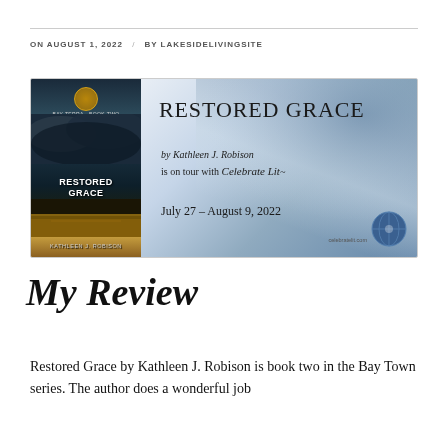ON AUGUST 1, 2022 / BY LAKESIDELIVINGSITE / 4 COMMENTS
[Figure (illustration): Banner for 'Restored Grace' by Kathleen J. Robison book tour. Left side shows the book cover with dark stormy lake scene. Right side has watercolor blue-grey background with text: RESTORED GRACE by Kathleen J. Robison is on tour with Celebrate Lit July 27 - August 9, 2022, with the Celebrate Lit logo globe.]
My Review
Restored Grace by Kathleen J. Robison is book two in the Bay Town series. The author does a wonderful job